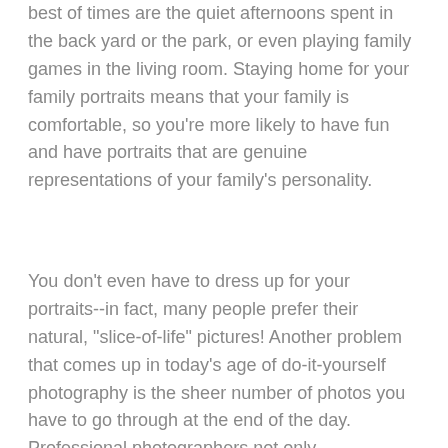best of times are the quiet afternoons spent in the back yard or the park, or even playing family games in the living room. Staying home for your family portraits means that your family is comfortable, so you're more likely to have fun and have portraits that are genuine representations of your family's personality.
You don't even have to dress up for your portraits--in fact, many people prefer their natural, "slice-of-life" pictures! Another problem that comes up in today's age of do-it-yourself photography is the sheer number of photos you have to go through at the end of the day. Professional photographers not only